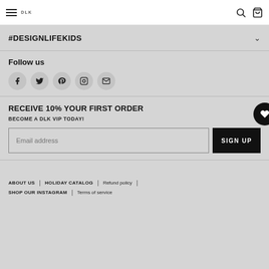DLK (logo) — navigation header with hamburger menu, search icon, and cart icon
#DESIGNLIFEKIDS
Follow us
[Figure (infographic): Row of five social media icon circles: Facebook, Twitter, Pinterest, Instagram, Email]
RECEIVE 10% YOUR FIRST ORDER
BECOME A DLK VIP TODAY!
Email address [input field] SIGN UP [button]
ABOUT US | HOLIDAY CATALOG | Refund policy | SHOP OUR INSTAGRAM | Terms of service